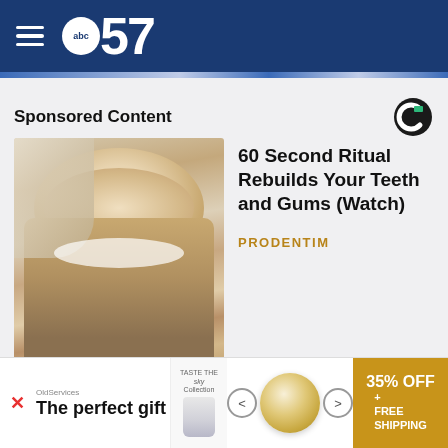abc57 — navigation header
Sponsored Content
[Figure (photo): Elderly woman smiling, close-up portrait photo]
60 Second Ritual Rebuilds Your Teeth and Gums (Watch)
PRODENTIM
[Figure (infographic): Bottom advertisement banner: The perfect gift — 35% OFF + FREE SHIPPING]